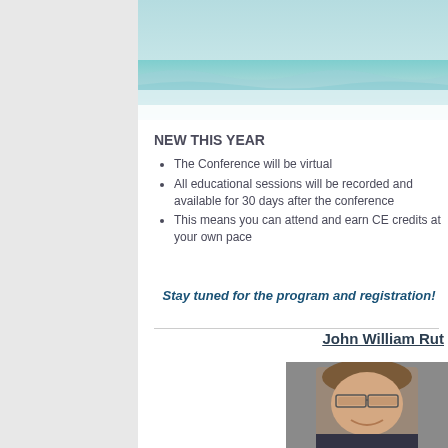[Figure (photo): Header image with aqua/teal water or wave design at the top of the content area]
NEW THIS YEAR
The Conference will be virtual
All educational sessions will be recorded and available for 30 days after the conference
This means you can attend and earn CE credits at your own pace
Stay tuned for the program and registration information!
John William Rut
[Figure (photo): Professional headshot of a middle-aged man with glasses and a suit, smiling]